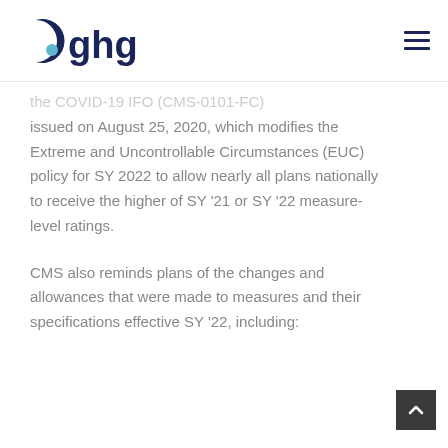ghg
the COVID-19 IFO (CMS-0101-FC) issued on August 25, 2020, which modifies the Extreme and Uncontrollable Circumstances (EUC) policy for SY 2022 to allow nearly all plans nationally to receive the higher of SY '21 or SY '22 measure-level ratings.
CMS also reminds plans of the changes and allowances that were made to measures and their specifications effective SY '22, including: